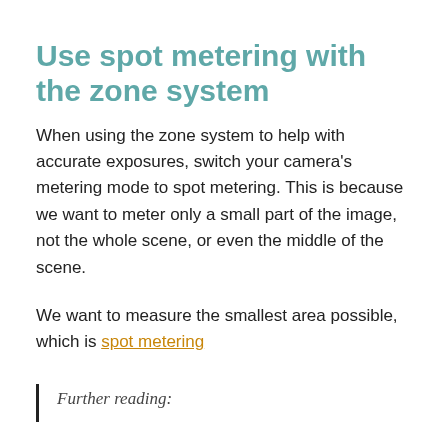Use spot metering with the zone system
When using the zone system to help with accurate exposures, switch your camera's metering mode to spot metering. This is because we want to meter only a small part of the image, not the whole scene, or even the middle of the scene.
We want to measure the smallest area possible, which is spot metering
Further reading: